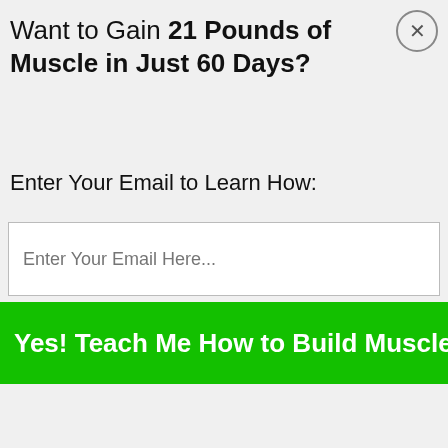Want to Gain 21 Pounds of Muscle in Just 60 Days?
Enter Your Email to Learn How:
Enter Your Email Here...
Yes! Teach Me How to Build Muscle FAST
the shelves, and come up with a new formula that wouldn't be considered illegal.
Twitter LinkedIn WhatsApp Telegram Reddit Facebook